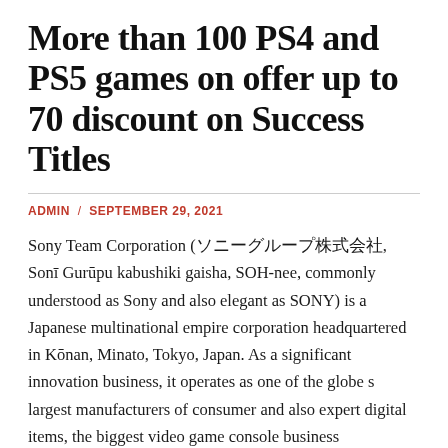More than 100 PS4 and PS5 games on offer up to 70 discount on Success Titles
ADMIN / SEPTEMBER 29, 2021
Sony Team Corporation (ソニーグループ株式会社, Sonī Gurūpu kabushiki gaisha, SOH-nee, commonly understood as Sony and also elegant as SONY) is a Japanese multinational empire corporation headquartered in Kōnan, Minato, Tokyo, Japan. As a significant innovation business, it operates as one of the globe s largest manufacturers of consumer and also expert digital items, the biggest video game console business